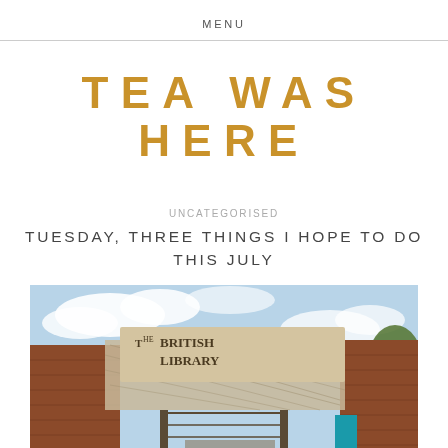MENU
TEA WAS HERE
UNCATEGORISED
TUESDAY, THREE THINGS I HOPE TO DO THIS JULY
[Figure (photo): Looking up at the entrance of The British Library building, red brick facade with large sign reading 'The British Library', blue sky with clouds visible above.]